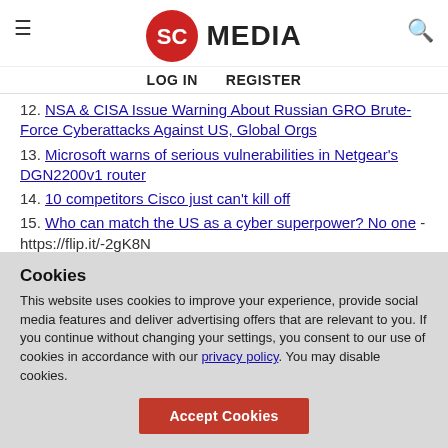SC MEDIA
LOG IN   REGISTER
12. NSA & CISA Issue Warning About Russian GRO Brute-Force Cyberattacks Against US, Global Orgs
13. Microsoft warns of serious vulnerabilities in Netgear's DGN2200v1 router
14. 10 competitors Cisco just can't kill off
15. Who can match the US as a cyber superpower? No one - https://flip.it/-2gK8N
16. Hackers are Targeting Cisco ASA device, After the POC Code was Published Online by Researcher. –
Cookies
This website uses cookies to improve your experience, provide social media features and deliver advertising offers that are relevant to you. If you continue without changing your settings, you consent to our use of cookies in accordance with our privacy policy. You may disable cookies.
Accept Cookies